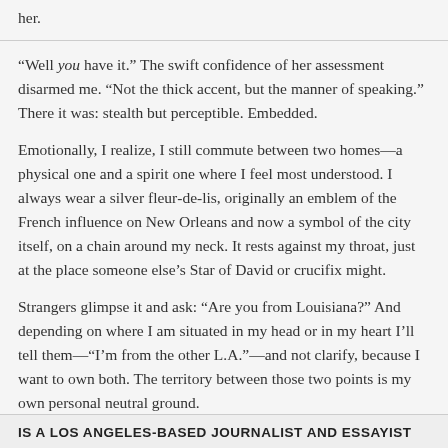her.
“Well you have it.” The swift confidence of her assessment disarmed me. “Not the thick accent, but the manner of speaking.” There it was: stealth but perceptible. Embedded.
Emotionally, I realize, I still commute between two homes—a physical one and a spirit one where I feel most understood. I always wear a silver fleur-de-lis, originally an emblem of the French influence on New Orleans and now a symbol of the city itself, on a chain around my neck. It rests against my throat, just at the place someone else’s Star of David or crucifix might.
Strangers glimpse it and ask: “Are you from Louisiana?” And depending on where I am situated in my head or in my heart I’ll tell them—“I’m from the other L.A.”—and not clarify, because I want to own both. The territory between those two points is my own personal neutral ground.
IS A LOS ANGELES-BASED JOURNALIST AND ESSAYIST